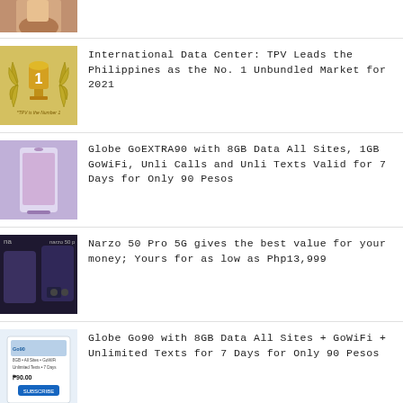[Figure (photo): Partial image of a hand holding a smartphone, cropped at top]
International Data Center: TPV Leads the Philippines as the No. 1 Unbundled Market for 2021
[Figure (photo): Gold trophy with laurel wreath and number 1, text 'TPV is the Number 1']
Globe GoEXTRA90 with 8GB Data All Sites, 1GB GoWiFi, Unli Calls and Unli Texts Valid for 7 Days for Only 90 Pesos
[Figure (photo): Hand holding a smartphone showing a pink/purple screen]
Narzo 50 Pro 5G gives the best value for your money; Yours for as low as Php13,999
[Figure (photo): Narzo 50 Pro 5G phones in dark blue displayed on dark background with 'narzo 50 p' text]
Globe Go90 with 8GB Data All Sites + GoWiFi + Unlimited Texts for 7 Days for Only 90 Pesos
[Figure (photo): Globe subscription card showing P90.00 price and Subscribe button]
narzo 50 5G offers game-changing efficiency; early bird price of only Php10,999
[Figure (photo): Narzo 50 5G phones on dark background with 'narzo' branding]